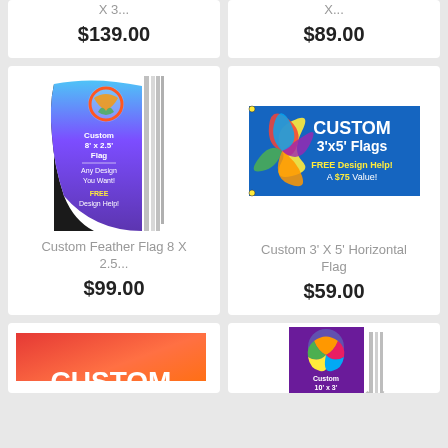X 3...
$139.00
X...
$89.00
[Figure (photo): Custom Feather Flag 8x2.5 with pole, purple/blue gradient design]
Custom Feather Flag 8 X 2.5...
$99.00
[Figure (photo): Custom 3x5 Horizontal Flag on blue background with colorful pinwheel design]
Custom 3' X 5' Horizontal Flag
$59.00
[Figure (photo): Custom flag partial view at bottom left, colorful red/orange design]
[Figure (photo): Custom 10x3 feather flag with pole, partial view at bottom right]